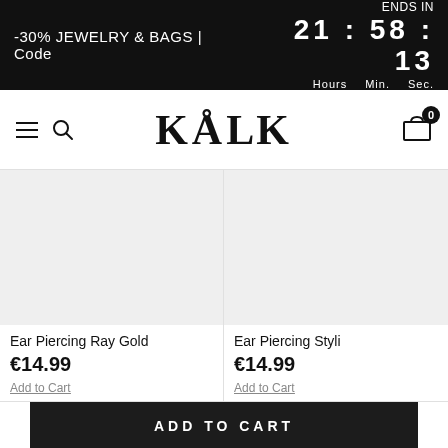-30% JEWELRY & BAGS | Code   ENDS IN 21 : 58 : 13 Hours Min. Sec.
[Figure (logo): KÅLK brand logo with hamburger menu, search icon, and cart icon showing 0 items]
[Figure (photo): Product image placeholder for Ear Piercing Ray Gold - light grey background]
Ear Piercing Ray Gold
€14.99
Add to Cart
[Figure (photo): Product image placeholder for Ear Piercing Styli - light grey background, partially cropped]
Ear Piercing Styli
€14.99
Add to Cart
ADD TO CART
DESCRIPTION